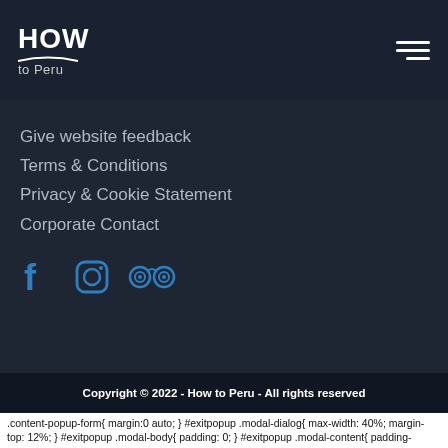HOW to Peru
Give website feedback
Terms & Conditions
Privacy & Cookie Statement
Corporate Contact
[Figure (other): Social media icons: Facebook, Instagram, TripAdvisor]
Copyright © 2022 - How to Peru - All rights reserved
.content-popup-form{ margin:0 auto; } #exitpopup .modal-dialog{ max-width: 40%; margin-top: 12%; } #exitpopup .modal-body{ padding: 0; } #exitpopup .modal-content{ padding-bottom: 0; } .content-popup{ position: absolute; top: 49%; width: 90%; margin: 0 auto; left: 5%; } .content-popup p.title{ font-